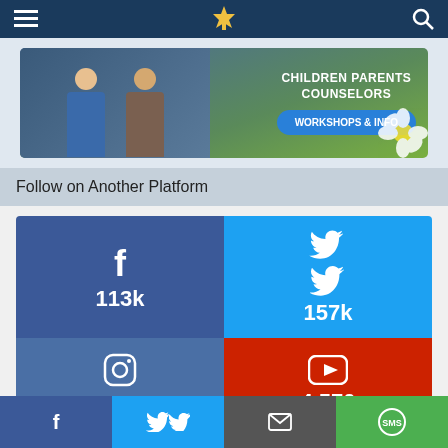Navigation bar with menu and search icons
[Figure (photo): Banner advertisement showing two people (a woman and a man), with text: CHILDREN PARENTS COUNSELORS and WORKSHOPS & INFO button]
Follow on Another Platform
[Figure (infographic): Social media follow counts grid: Facebook 113k, Twitter 157k, Instagram 54.9k, YouTube 4,570]
Latest Instagram Posts
Share bar with Facebook, Twitter, Email, SMS buttons